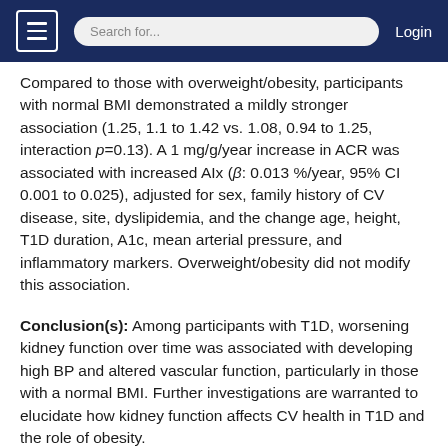Search for... Login
Compared to those with overweight/obesity, participants with normal BMI demonstrated a mildly stronger association (1.25, 1.1 to 1.42 vs. 1.08, 0.94 to 1.25, interaction p=0.13). A 1 mg/g/year increase in ACR was associated with increased AIx (β: 0.013 %/year, 95% CI 0.001 to 0.025), adjusted for sex, family history of CV disease, site, dyslipidemia, and the change age, height, T1D duration, A1c, mean arterial pressure, and inflammatory markers. Overweight/obesity did not modify this association.
Conclusion(s): Among participants with T1D, worsening kidney function over time was associated with developing high BP and altered vascular function, particularly in those with a normal BMI. Further investigations are warranted to elucidate how kidney function affects CV health in T1D and the role of obesity.